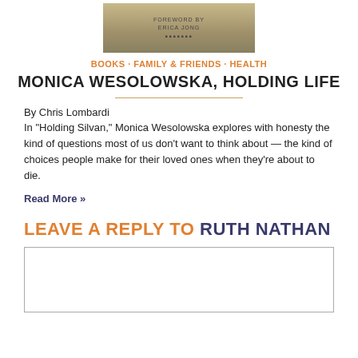[Figure (photo): Book cover image with muted warm tones and text overlay]
BOOKS · FAMILY & FRIENDS · HEALTH
MONICA WESOLOWSKA, HOLDING LIFE
By Chris Lombardi
In "Holding Silvan," Monica Wesolowska explores with honesty the kind of questions most of us don't want to think about — the kind of choices people make for their loved ones when they're about to die.
Read More »
LEAVE A REPLY TO RUTH NATHAN